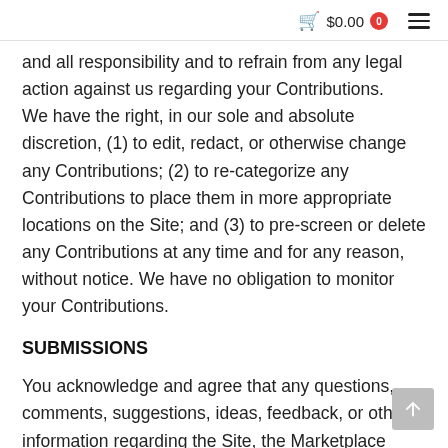$0.00  0
and all responsibility and to refrain from any legal action against us regarding your Contributions.      We have the right, in our sole and absolute discretion, (1) to edit, redact, or otherwise change any Contributions; (2) to re-categorize any Contributions to place them in more appropriate locations on the Site; and (3) to pre-screen or delete any Contributions at any time and for any reason, without notice. We have no obligation to monitor your Contributions.
SUBMISSIONS
You acknowledge and agree that any questions, comments, suggestions, ideas, feedback, or other information regarding the Site, the Marketplace